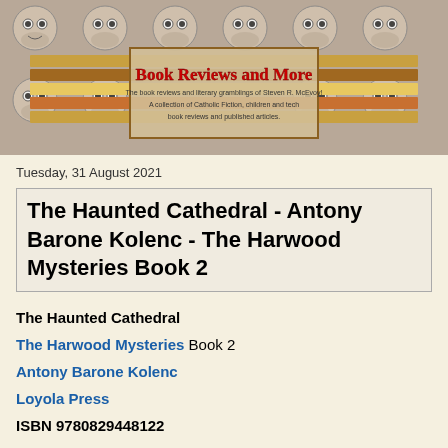[Figure (illustration): Website header banner with cartoon skull/Jack Skellington pattern background. Center contains a book-shaped banner with title 'Book Reviews and More' in red, subtitle text about book reviews and Catholic Fiction, Children and Tech book reviews.]
Tuesday, 31 August 2021
The Haunted Cathedral - Antony Barone Kolenc - The Harwood Mysteries Book 2
The Haunted Cathedral
The Harwood Mysteries Book 2
Antony Barone Kolenc
Loyola Press
ISBN 9780829448122
eISBN 9780829448139
ASIN B088861BZG
[Figure (photo): Book cover for The Haunted Cathedral by Antony Barone Kolenc, dark background with author name visible]